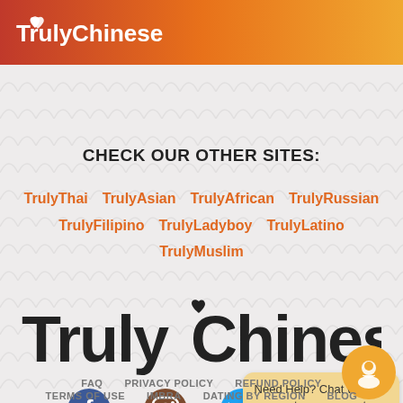TrulyChinese
CHECK OUR OTHER SITES:
TrulyThai  TrulyAsian  TrulyAfrican  TrulyRussian  TrulyFilipino  TrulyLadyboy  TrulyLatino  TrulyMuslim
[Figure (logo): TrulyChinese logo large with heart symbol]
[Figure (other): Social media icons: Facebook, Instagram, Twitter, YouTube]
Need Help? Chat with our customer support
FAQ  PRIVACY POLICY  REFUND POLICY  TERMS OF USE  IMBRA  DATING BY REGION  BLOG